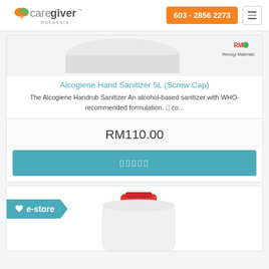[Figure (logo): Caregiver Malaysia logo with heart icon]
603 - 2856 2273
[Figure (illustration): Product image top portion of hand sanitizer 5L container with Revlogi Materials badge]
Alcogiene Hand Sanitizer 5L (Screw Cap)
The Alcogiene Handrub Sanitizer An alcohol-based sanitizer with WHO-recommended formulation. ▯ co...
RM110.00
▯▯▯▯▯
[Figure (illustration): Second product card with e-store badge and partial image of a 5L container with red cap]